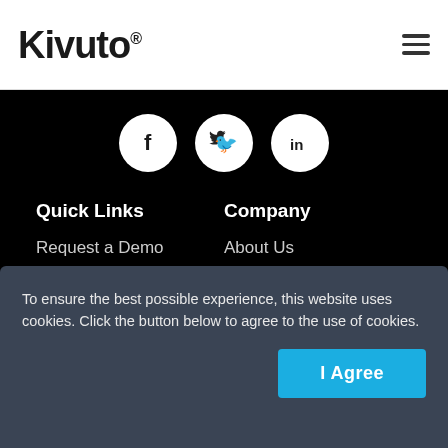Kivuto®
[Figure (illustration): Three social media icons in white circles on black background: Facebook (f), Twitter (bird), LinkedIn (in)]
Quick Links
Company
Request a Demo
About Us
To ensure the best possible experience, this website uses cookies. Click the button below to agree to the use of cookies.
I Agree